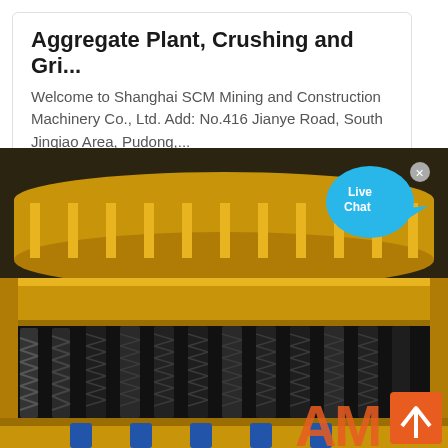Aggregate Plant, Crushing and Gri...
Welcome to Shanghai SCM Mining and Construction Machinery Co., Ltd. Add: No.416 Jianye Road, South Jinqiao Area, Pudong,...
[Figure (photo): Close-up photograph of a large yellow cone crusher machine with black coil springs visible around the lower body and blue bolt fittings at the base. An orange logo partially visible at bottom right reads 'AM'. A Live Chat bubble and back-to-top button overlay the image.]